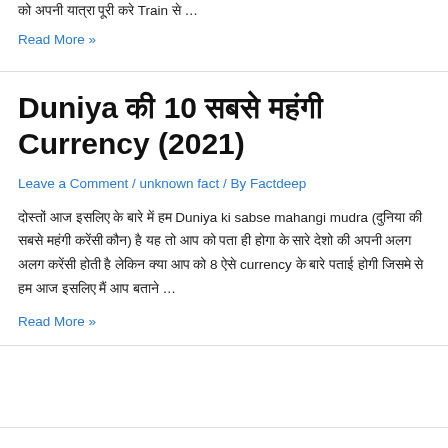को अपनी यात्रा पूरी करे Train से …
Read More »
Duniya की 10 सबसे महंगी Currency (2021)
Leave a Comment / unknown fact / By Factdeep
दोस्तों आज इसलिए के बारे में हम Duniya ki sabse mahangi mudra (दुनिया की सबसे महंगी करेंसी कौन) है यह तो आप को पता ही होगा के सारे देशो की अपनी अलग अलग करेंसी होती है लेकिन क्या आप को 8 ऐसे currency के बारे पताई होगी जिसमे से हम आज इसलिए मैं आप बताने …
Read More »